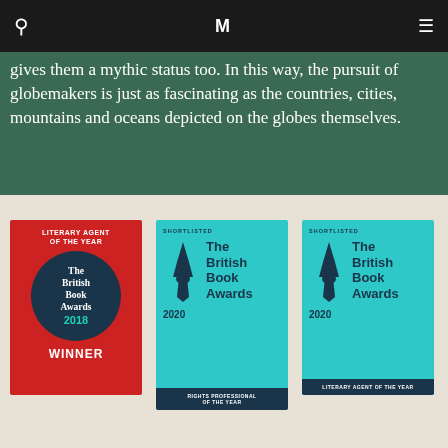Navigation bar with search icon, M logo, and menu icon
gives them a mythic status too. In this way, the pursuit of globemakers is just as fascinating as the countries, cities, mountains and oceans depicted on the globes themselves.
[Figure (illustration): Literary Agent of the Year, The British Book Awards 2018, WINNER - red badge with dark circular emblem]
[Figure (illustration): Shortlisted, The British Book Awards 2020, Rights Professional of the Year - teal badge with pen nib icon]
[Figure (illustration): Shortlisted, The British Book Awards 2020, Literary Agent of the Year - teal badge with pen nib icon]